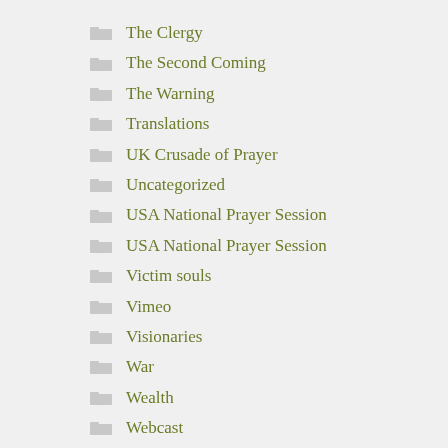The Clergy
The Second Coming
The Warning
Translations
UK Crusade of Prayer
Uncategorized
USA National Prayer Session
USA National Prayer Session
Victim souls
Vimeo
Visionaries
War
Wealth
Webcast